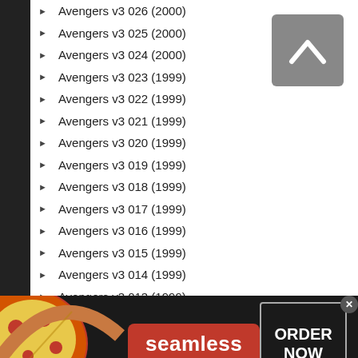Avengers v3 026 (2000)
Avengers v3 025 (2000)
Avengers v3 024 (2000)
Avengers v3 023 (1999)
Avengers v3 022 (1999)
Avengers v3 021 (1999)
Avengers v3 020 (1999)
Avengers v3 019 (1999)
Avengers v3 018 (1999)
Avengers v3 017 (1999)
Avengers v3 016 (1999)
Avengers v3 015 (1999)
Avengers v3 014 (1999)
Avengers v3 013 (1999)
Avengers v3 012 (1999)
Avengers v3 011 (1998)
Avengers v3 010 (1998)
[Figure (screenshot): Seamless food delivery advertisement banner with pizza image, red Seamless logo badge, and ORDER NOW button]